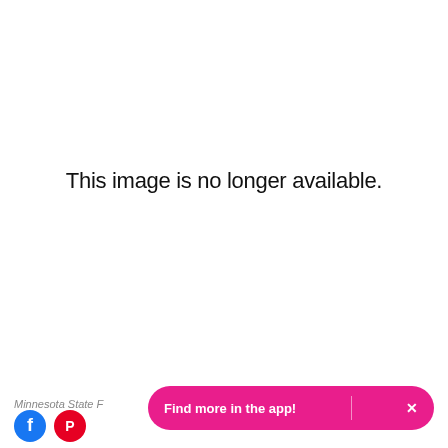This image is no longer available.
Minnesota State F
[Figure (other): Facebook social icon circle button]
[Figure (other): Pinterest social icon circle button]
Find more in the app!